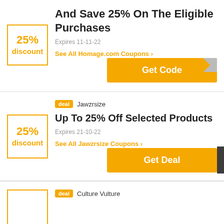[Figure (other): Coupon card: 25% discount badge with 'And Save 25% On The Eligible Purchases', Expires 11-11-22, See All Homage.com Coupons link, Get Code button]
[Figure (other): Coupon card: deal badge, Jawzrsize, 25% discount badge, 'Up To 25% Off Selected Products', Expires 21-10-22, See All Jawzrsize Coupons link, Get Deal button, scroll-to-top button]
[Figure (other): Partial coupon card: deal badge, Culture Vulture, discount box (partial)]